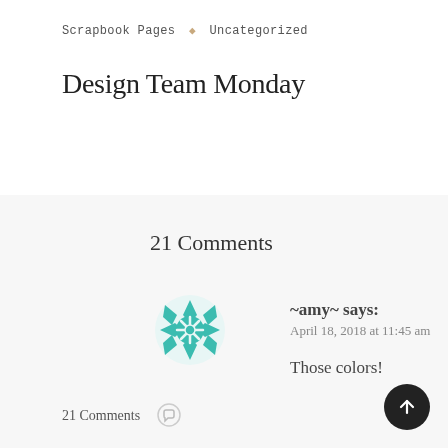Scrapbook Pages ◆ Uncategorized
Design Team Monday
21 Comments
~amy~ says: April 18, 2018 at 11:45 am
Those colors!
[Figure (logo): Teal decorative geometric avatar icon with floral/mandala pattern]
21 Comments